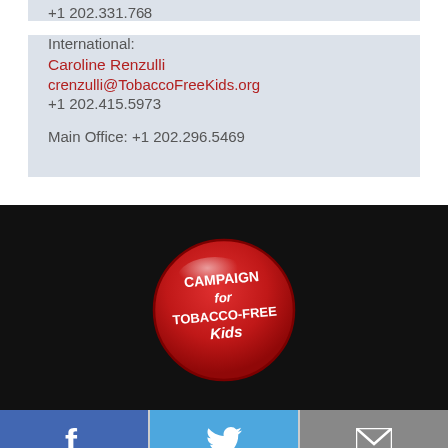+1 202.331.7768
International:
Caroline Renzulli
crenzulli@TobaccoFreeKids.org
+1 202.415.5973
Main Office: +1 202.296.5469
[Figure (logo): Campaign for Tobacco-Free Kids red button logo on black background]
[Figure (other): Social media sharing buttons: Facebook (blue), Twitter (light blue), Email (gray)]